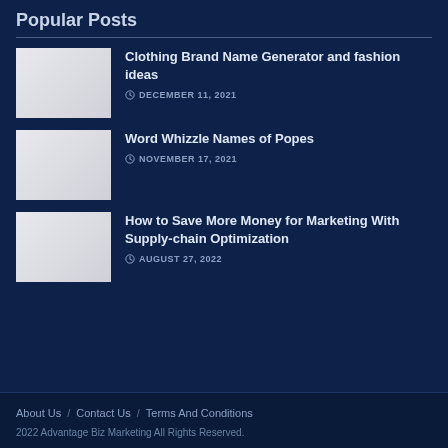Popular Posts
Clothing Brand Name Generator and fashion ideas — DECEMBER 11, 2021
Word Whizzle Names of Popes — NOVEMBER 17, 2021
How to Save More Money for Marketing With Supply-chain Optimization — AUGUST 27, 2022
About Us / Contact Us / Terms And Conditions
2022 Advantage Biz Marketing All Rights Reserved.